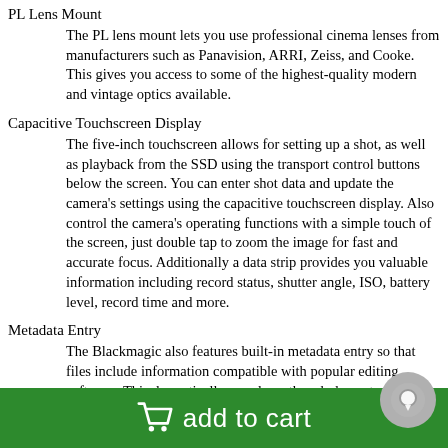PL Lens Mount
The PL lens mount lets you use professional cinema lenses from manufacturers such as Panavision, ARRI, Zeiss, and Cooke. This gives you access to some of the highest-quality modern and vintage optics available.
Capacitive Touchscreen Display
The five-inch touchscreen allows for setting up a shot, as well as playback from the SSD using the transport control buttons below the screen. You can enter shot data and update the camera's settings using the capacitive touchscreen display. Also control the camera's operating functions with a simple touch of the screen, just double tap to zoom the image for fast and accurate focus. Additionally a data strip provides you valuable information including record status, shutter angle, ISO, battery level, record time and more.
Metadata Entry
The Blackmagic also features built-in metadata entry so that files include information compatible with popular editing software. This dramatically speeds up the whole post production process,